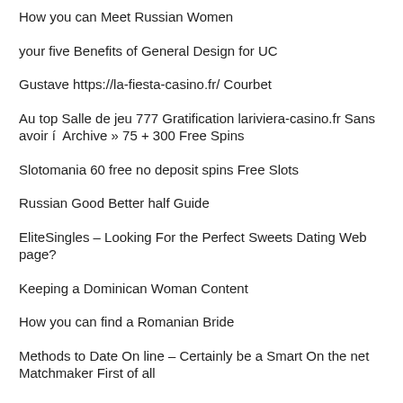How you can Meet Russian Women
your five Benefits of General Design for UC
Gustave https://la-fiesta-casino.fr/ Courbet
Au top Salle de jeu 777 Gratification lariviera-casino.fr Sans avoir í  Archive » 75 + 300 Free Spins
Slotomania 60 free no deposit spins Free Slots
Russian Good Better half Guide
EliteSingles – Looking For the Perfect Sweets Dating Web page?
Keeping a Dominican Woman Content
How you can find a Romanian Bride
Methods to Date On line – Certainly be a Smart On the net Matchmaker First of all